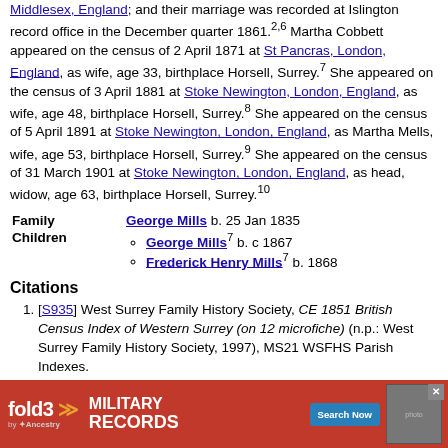Middlesex, England; and their marriage was recorded at Islington record office in the December quarter 1861.2,6 Martha Cobbett appeared on the census of 2 April 1871 at St Pancras, London, England, as wife, age 33, birthplace Horsell, Surrey.7 She appeared on the census of 3 April 1881 at Stoke Newington, London, England, as wife, age 48, birthplace Horsell, Surrey.8 She appeared on the census of 5 April 1891 at Stoke Newington, London, England, as Martha Mells, wife, age 53, birthplace Horsell, Surrey.9 She appeared on the census of 31 March 1901 at Stoke Newington, London, England, as head, widow, age 63, birthplace Horsell, Surrey.10
| Family | George Mills b. 25 Jan 1835 |
| --- | --- |
| Children | George Mills7 b. c 1867
Frederick Henry Mills7 b. 1868 |
Citations
[S935] West Surrey Family History Society, CE 1851 British Census Index of Western Surrey (on 12 microfiche) (n.p.: West Surrey Family History Society, 1997), MS21 WSFHS Parish Indexes.
[S...] ... Index En... page 40...
[Figure (other): Fold3 Military Records advertisement banner with red background, logo, Search Now button, and soldier photo]